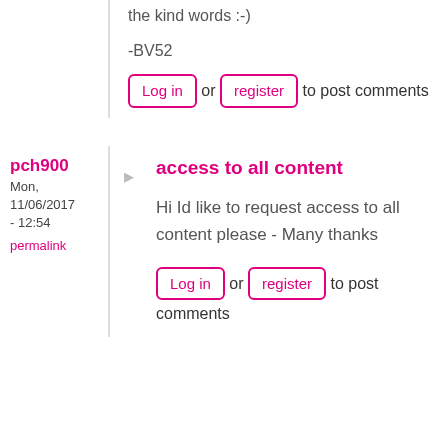the kind words :-)
-BV52
Log in or register to post comments
pch900
Mon, 11/06/2017 - 12:54
permalink
access to all content
Hi Id like to request access to all content please - Many thanks
Log in or register to post comments